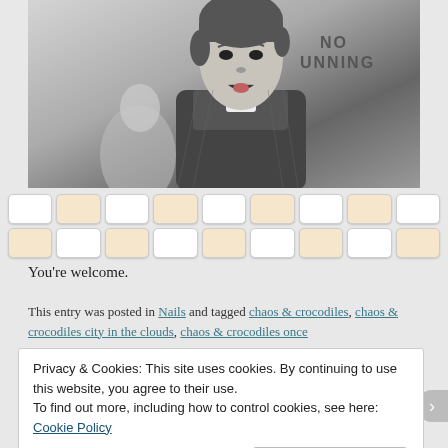[Figure (photo): Black and white photo of a man in a pinstripe suit with mouth open, with a woman partially visible behind him. In the background a sign reads 'NO RUNNING'.]
You're welcome.
This entry was posted in Nails and tagged chaos & crocodiles, chaos & crocodiles city in the clouds, chaos & crocodiles once
Privacy & Cookies: This site uses cookies. By continuing to use this website, you agree to their use.
To find out more, including how to control cookies, see here: Cookie Policy
Close and accept